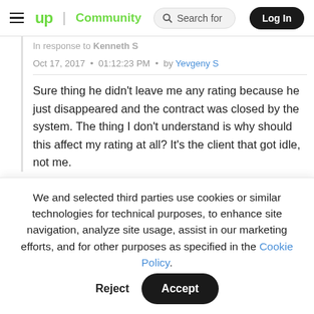Upwork Community | Search for | Log In
In response to Kenneth S
Oct 17, 2017  •  01:12:23 PM  •  by Yevgeny S
Sure thing he didn't leave me any rating because he just disappeared and the contract was closed by the system. The thing I don't understand is why should this affect my rating at all? It's the client that got idle, not me.
We and selected third parties use cookies or similar technologies for technical purposes, to enhance site navigation, analyze site usage, assist in our marketing efforts, and for other purposes as specified in the Cookie Policy.
Accept
Reject